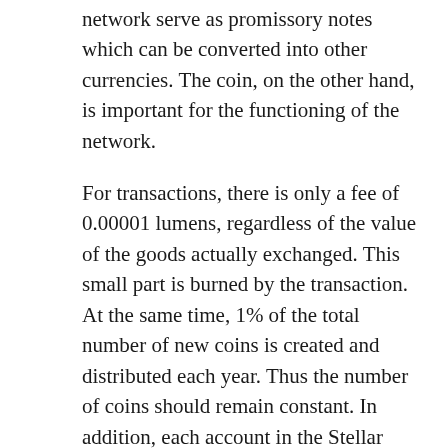network serve as promissory notes which can be converted into other currencies. The coin, on the other hand, is important for the functioning of the network.
For transactions, there is only a fee of 0.00001 lumens, regardless of the value of the goods actually exchanged. This small part is burned by the transaction. At the same time, 1% of the total number of new coins is created and distributed each year. Thus the number of coins should remain constant. In addition, each account in the Stellar network must have at least 20 lumens. Like most other crypto currencies, there is an open source protocol behind the coin, the so-called blockchain.